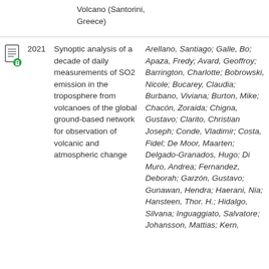Volcano (Santorini, Greece)
|  | Year | Title | Authors |
| --- | --- | --- | --- |
| [icon] | 2021 | Synoptic analysis of a decade of daily measurements of SO2 emission in the troposphere from volcanoes of the global ground-based network for observation of volcanic and atmospheric change | Arellano, Santiago; Galle, Bo; Apaza, Fredy; Avard, Geoffroy; Barrington, Charlotte; Bobrowski, Nicole; Bucarey, Claudia; Burbano, Viviana; Burton, Mike; Chacón, Zoraida; Chigna, Gustavo; Clarito, Christian Joseph; Conde, Vladimir; Costa, Fidel; De Moor, Maarten; Delgado-Granados, Hugo; Di Muro, Andrea; Fernandez, Deborah; Garzón, Gustavo; Gunawan, Hendra; Haerani, Nia; Hansteen, Thor. H.; Hidalgo, Silvana; Inguaggiato, Salvatore; Johansson, Mattias; Kern, |